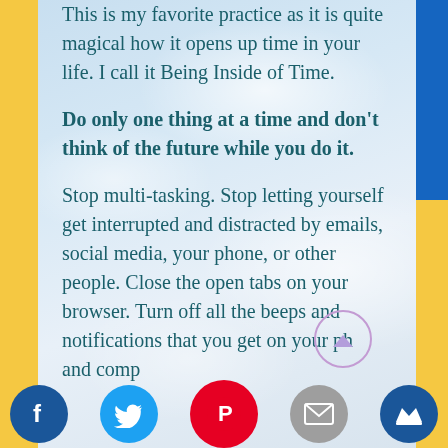This is my favorite practice as it is quite magical how it opens up time in your life. I call it Being Inside of Time.
Do only one thing at a time and don't think of the future while you do it.
Stop multi-tasking. Stop letting yourself get interrupted and distracted by emails, social media, your phone, or other people. Close the open tabs on your browser. Turn off all the beeps and notifications that you [get on] your ph[one] and comp[uter].
[Figure (infographic): Social media sharing icons at the bottom: Facebook (blue), Twitter (blue), Pinterest (red), Email (gray), Crown (blue). A scroll-up button circle on the right side.]